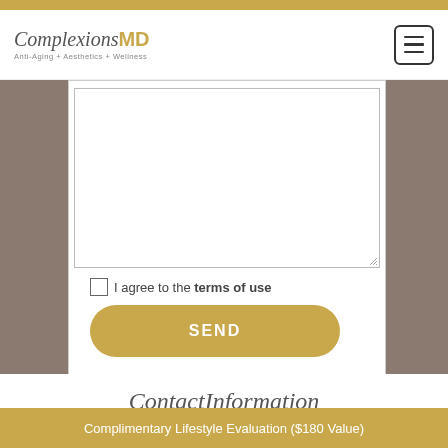[Figure (logo): ComplexionsMD logo with tagline Anti-Aging + Aesthetics + Wellness]
[Figure (screenshot): Hamburger menu button icon, square with three horizontal lines]
[Figure (screenshot): Large white text area form field (textarea) on background image]
I agree to the terms of use
SEND
ContactInformation
Ne
Complimentary Lifestyle Evaluation ($180 Value)